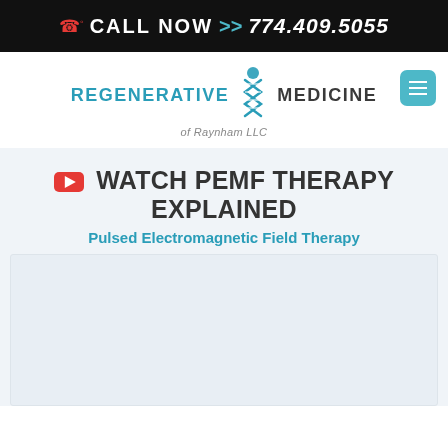CALL NOW >> 774.409.5055
[Figure (logo): Regenerative Medicine of Raynham LLC logo with DNA helix icon]
WATCH PEMF THERAPY EXPLAINED
Pulsed Electromagnetic Field Therapy
[Figure (screenshot): Embedded video player placeholder (white/light gray rectangle)]